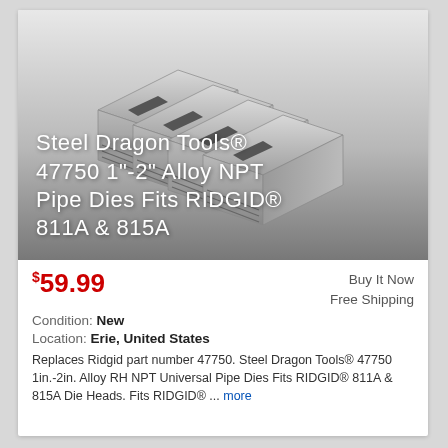[Figure (photo): Four steel alloy pipe threading dies arranged in a staggered row, metallic gray color with threaded cutting edges visible on the bottom, on a gradient gray-to-white background.]
Steel Dragon Tools® 47750 1"-2" Alloy NPT Pipe Dies Fits RIDGID® 811A & 815A
$59.99
Buy It Now
Free Shipping
Condition: New
Location: Erie, United States
Replaces Ridgid part number 47750. Steel Dragon Tools® 47750 1in.-2in. Alloy RH NPT Universal Pipe Dies Fits RIDGID® 811A & 815A Die Heads. Fits RIDGID® ... more